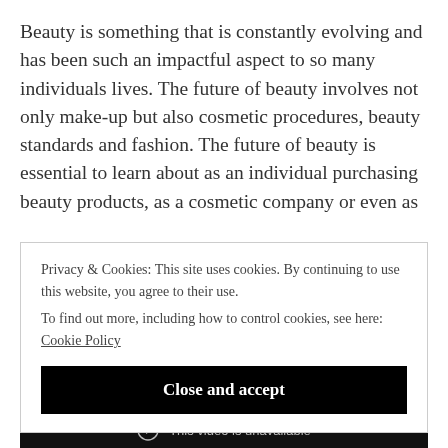Beauty is something that is constantly evolving and has been such an impactful aspect to so many individuals lives. The future of beauty involves not only make-up but also cosmetic procedures, beauty standards and fashion. The future of beauty is essential to learn about as an individual purchasing beauty products, as a cosmetic company or even as
Privacy & Cookies: This site uses cookies. By continuing to use this website, you agree to their use.
To find out more, including how to control cookies, see here: Cookie Policy
Close and accept
This video is unavailable